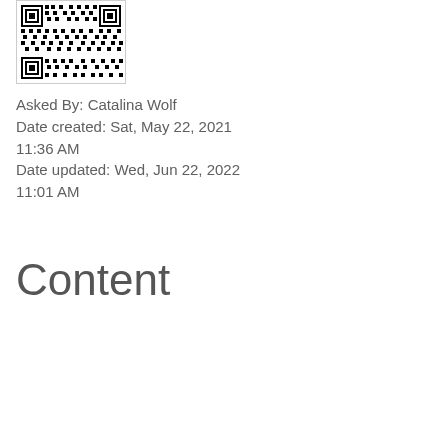[Figure (other): QR code image in top-left area]
Asked By: Catalina Wolf
Date created: Sat, May 22, 2021 11:36 AM
Date updated: Wed, Jun 22, 2022 11:01 AM
Content